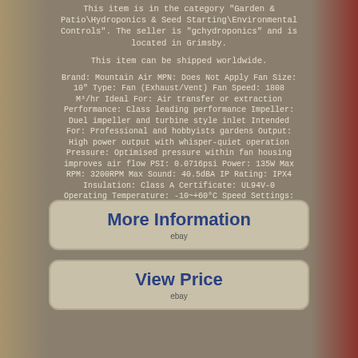This item is in the category "Garden & Patio\Hydroponics & Seed Starting\Environmental Controls". The seller is "gchydroponics" and is located in Grimsby.
This item can be shipped worldwide.
Brand: Mountain Air MPN: Does Not Apply Fan Size: 10" Type: Fan (Exhaust/Vent) Fan Speed: 1808 M³/hr Ideal For: Air transfer or extraction Performance: Class leading performance Impeller: Duel impeller and turbine style inlet Intended For: Professional and hobbyists gardens Output: High power output with whisper-quiet operation Pressure: Optimised pressure within fan housing improves air flow PSI: 0.0716psi Power: 135W Max RPM: 3200RPM Max Sound: 40.5dBA IP Rating: IPX4 Insulation: Class A Certificate: UL94V-0 Operating Temperature: -10~+60°C Speed Settings: 3 Max Current: 1.38A / 2.00A Voltage: 110~120V / 220~240V
[Figure (other): Button linking to eBay listing with text 'More Information' and ebay logo]
[Figure (other): Button linking to eBay listing with text 'View Price' and ebay logo]